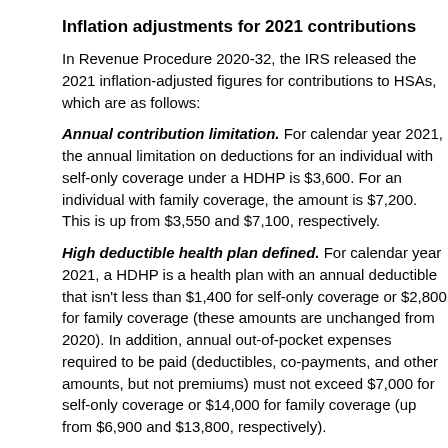Inflation adjustments for 2021 contributions
In Revenue Procedure 2020-32, the IRS released the 2021 inflation-adjusted figures for contributions to HSAs, which are as follows:
Annual contribution limitation. For calendar year 2021, the annual limitation on deductions for an individual with self-only coverage under a HDHP is $3,600. For an individual with family coverage, the amount is $7,200. This is up from $3,550 and $7,100, respectively.
High deductible health plan defined. For calendar year 2021, a HDHP is a health plan with an annual deductible that isn't less than $1,400 for self-only coverage or $2,800 for family coverage (these amounts are unchanged from 2020). In addition, annual out-of-pocket expenses required to be paid (deductibles, co-payments, and other amounts, but not premiums) must not exceed $7,000 for self-only coverage or $14,000 for family coverage (up from $6,900 and $13,800, respectively).
A variety of benefits
There are many advantages to HSAs. Once established, the account is yours. The money can accumulate year after year tax free and be withdrawn tax free for qualified medical expenses such as doctor visits, prescriptions, chiropractic care and even long-term-care insurance. In addition, an HSA is "portable." It stays with the employee even if he/she changes employers or leaves the work force. For more information, contact your employee benefits and tax advisor.
© 2020